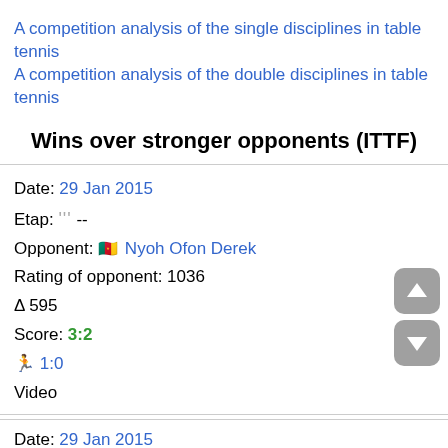A competition analysis of the single disciplines in table tennis
A competition analysis of the double disciplines in table tennis
Wins over stronger opponents (ITTF)
Date: 29 Jan 2015
Etap: ''' --
Opponent: [flag] Nyoh Ofon Derek
Rating of opponent: 1036
Δ 595
Score: 3:2
🏃 1:0
Video
Date: 29 Jan 2015